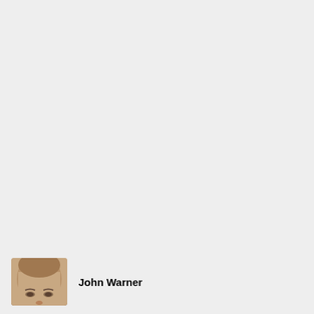[Figure (photo): Partial headshot photo of a person (mostly forehead and eyes visible), cropped at bottom of page]
John Warner